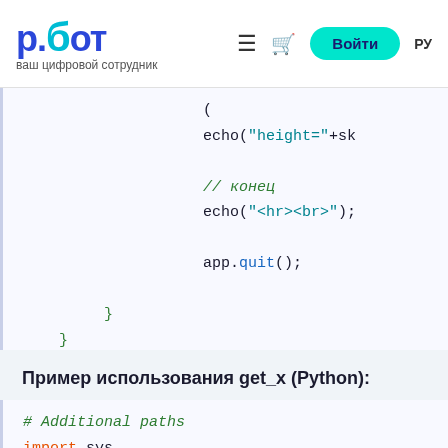р.бот — ваш цифровой сотрудник
[Figure (screenshot): Code block showing PHP/C++ code with echo and app.quit() calls and closing braces]
Пример использования get_x (Python):
[Figure (screenshot): Python code block showing: # Additional paths, import sys, sys.path.insert(0, '../../Templates PY]